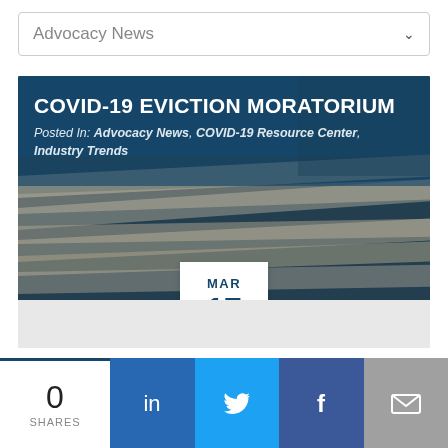Advocacy News
COVID-19 EVICTION MORATORIUM
Posted In: Advocacy News, COVID-19 Resource Center, Industry Trends
MAR 17
An update on the coronavirus-related government actions. ***update March 18, 2020 - The WA Supreme Court has ordered a stay of all Writs until...
READ POST
0 SHARES
[Figure (infographic): Social share bar with LinkedIn, Twitter, Facebook, and Email icons]